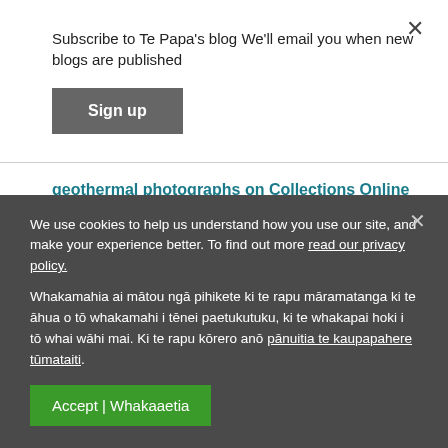Subscribe to Te Papa's blog We'll email you when new blogs are published
Sign up
geothermal photographs on Collections Online >
You can see a selection of Theo Schoon's geothermal photographs in the new exhibition Détour by Michael Parekowhai
We use cookies to help us understand how you use our site, and make your experience better. To find out more read our privacy policy. Whakamahia ai mātou ngā pihikete ki te rapu māramatanga ki te āhua o tō whakamahi i tēnei paetukutuku, ki te whakapai hoki i tō whai wāhi mai. Ki te rapu kōrero anō pānuitia te kaupapahere tūmataiti.
Accept | Whakaaetia